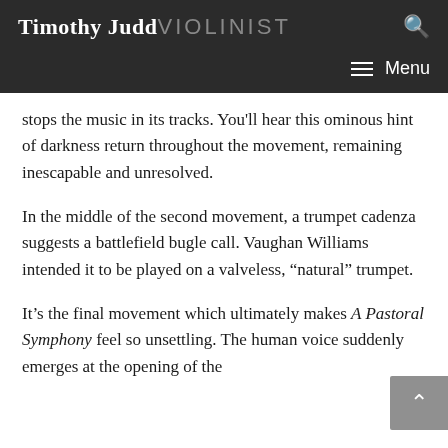Timothy Judd VIOLINIST
stops the music in its tracks. You'll hear this ominous hint of darkness return throughout the movement, remaining inescapable and unresolved.
In the middle of the second movement, a trumpet cadenza suggests a battlefield bugle call. Vaughan Williams intended it to be played on a valveless, “natural” trumpet.
It’s the final movement which ultimately makes A Pastoral Symphony feel so unsettling. The human voice suddenly emerges at the opening of the